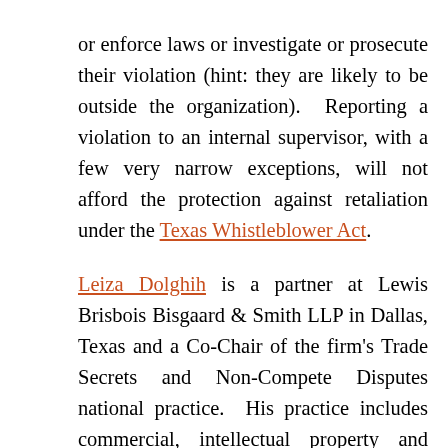or enforce laws or investigate or prosecute their violation (hint: they are likely to be outside the organization). Reporting a violation to an internal supervisor, with a few very narrow exceptions, will not afford the protection against retaliation under the Texas Whistleblower Act.
Leiza Dolghih is a partner at Lewis Brisbois Bisgaard & Smith LLP in Dallas, Texas and a Co-Chair of the firm's Trade Secrets and Non-Compete Disputes national practice. His practice includes commercial, intellectual property and employment litigation. You can contact her directly at Leiza.Dolghih@LewisBrisbois.com or (214)